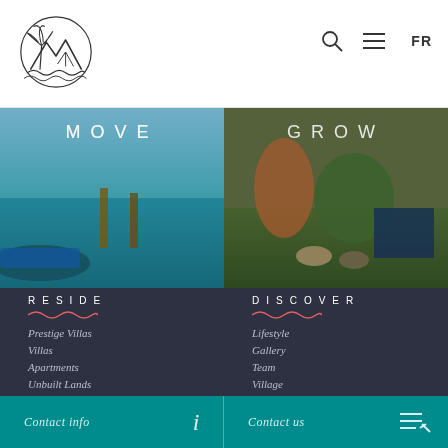[Figure (logo): Island/tropical logo with palm tree, mountains and waves]
[Figure (photo): Left half: People on a boat on turquoise ocean water, text overlay 'MOVE']
[Figure (photo): Right half: People sitting on grass outdoors, text overlay 'GROW']
RESIDE
Prestige Villas
Villas
Apartments
Unbuilt Lands
Masterplan
DISCOVER
Lifestyle
Gallery
Team
Village
Wild South
Contact info
Contact us